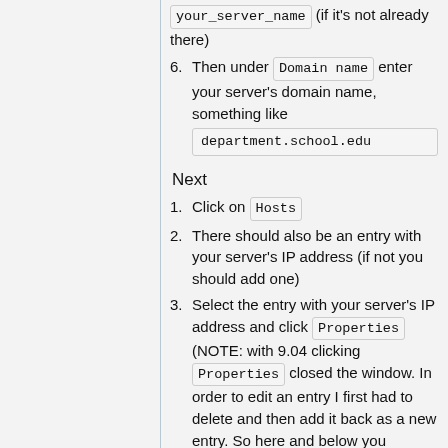your_server_name (if it's not already there)
6. Then under Domain name enter your server's domain name, something like department.school.edu
Next
1. Click on Hosts
2. There should also be an entry with your server's IP address (if not you should add one)
3. Select the entry with your server's IP address and click Properties (NOTE: with 9.04 clicking Properties closed the window. In order to edit an entry I first had to delete and then add it back as a new entry. So here and below you